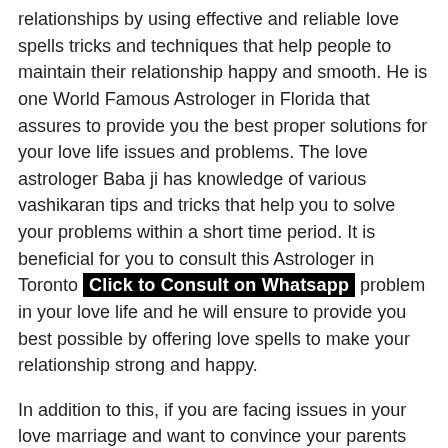relationships by using effective and reliable love spells tricks and techniques that help people to maintain their relationship happy and smooth. He is one World Famous Astrologer in Florida that assures to provide you the best proper solutions for your love life issues and problems. The love astrologer Baba ji has knowledge of various vashikaran tips and tricks that help you to solve your problems within a short time period. It is beneficial for you to consult this Astrologer in Toronto [Click to Consult on Whatsapp] problem in your love life and he will ensure to provide you best possible by offering love spells to make your relationship strong and happy.
In addition to this, if you are facing issues in your love marriage and want to convince your parents for your love marriage then it is beneficial for you to get the help of this Love Marriage Astrologer in Toronto.